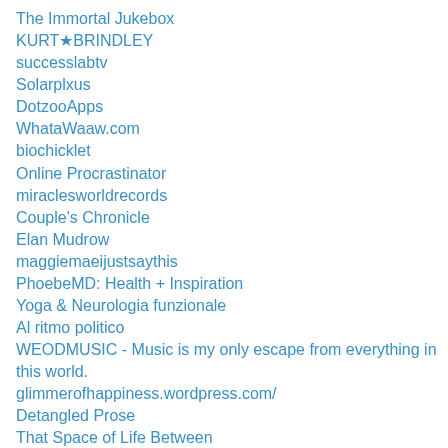The Immortal Jukebox
KURT★BRINDLEY
successlabtv
Solarplxus
DotzooApps
WhataWaaw.com
biochicklet
Online Procrastinator
miraclesworldrecords
Couple's Chronicle
Elan Mudrow
maggiemaeijustsaythis
PhoebeMD: Health + Inspiration
Yoga & Neurologia funzionale
Al ritmo politico
WEODMUSIC - Music is my only escape from everything in this world.
glimmerofhappiness.wordpress.com/
Detangled Prose
That Space of Life Between
Felicity Johns